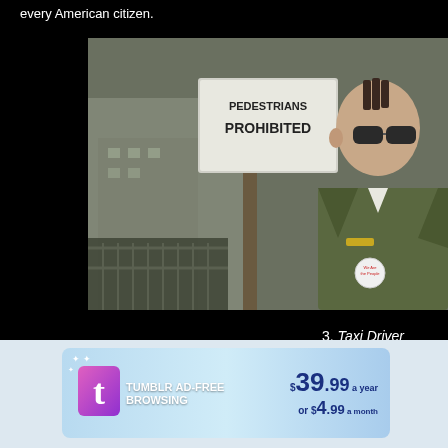every American citizen.
[Figure (photo): Movie still from Taxi Driver showing a man with a mohawk haircut wearing sunglasses and an olive military jacket with a button pin that reads 'We Are the People', standing in front of a 'Pedestrians Prohibited' sign in an urban setting.]
3. Taxi Driver
[Figure (infographic): Tumblr Ad-Free Browsing advertisement banner showing Tumblr logo, text 'TUMBLR AD-FREE BROWSING', price '$39.99 a year or $4.99 a month']